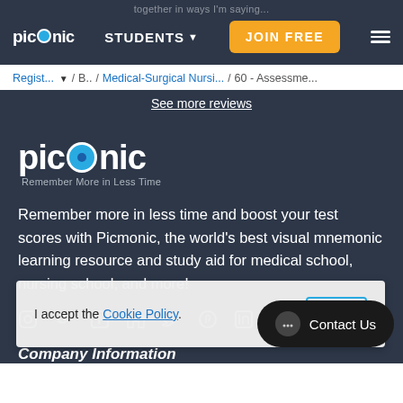together in ways I'm saying...
picmonic | STUDENTS ▼ | JOIN FREE | ☰
Regist... ▼ / B.. / Medical-Surgical Nursi... / 60 - Assessme...
See more reviews
[Figure (logo): Picmonic logo — large white text with blue eye icon, tagline: Remember More in Less Time]
Remember more in less time and boost your test scores with Picmonic, the world's best visual mnemonic learning resource and study aid for medical school, nursing school, and more!
[Figure (infographic): Row of social media icons: Instagram, Snapchat, Facebook, Facebook, Twitter, Pinterest, LinkedIn, YouTube]
I accept the Cookie Policy.
OK
Contact Us
Company Information